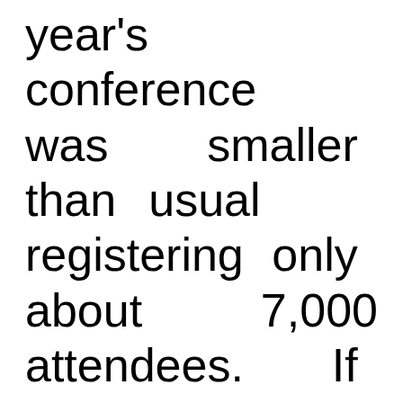year's conference was smaller than usual registering only about 7,000 attendees. If you did not get a chance to attend, take a look at the